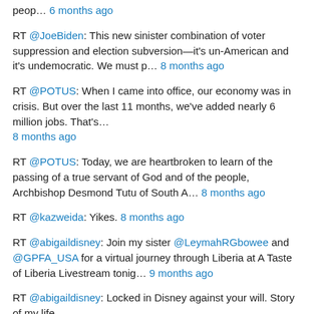peop… 6 months ago
RT @JoeBiden: This new sinister combination of voter suppression and election subversion—it's un-American and it's undemocratic. We must p… 8 months ago
RT @POTUS: When I came into office, our economy was in crisis. But over the last 11 months, we've added nearly 6 million jobs. That's… 8 months ago
RT @POTUS: Today, we are heartbroken to learn of the passing of a true servant of God and of the people, Archbishop Desmond Tutu of South A… 8 months ago
RT @kazweida: Yikes. 8 months ago
RT @abigaildisney: Join my sister @LeymahRGbowee and @GPFA_USA for a virtual journey through Liberia at A Taste of Liberia Livestream tonig… 9 months ago
RT @abigaildisney: Locked in Disney against your will. Story of my life 9 months ago